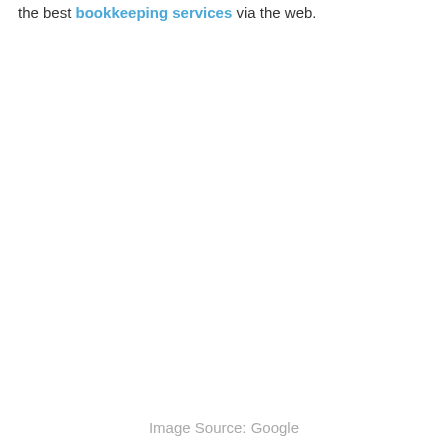the best bookkeeping services via the web.
Image Source: Google